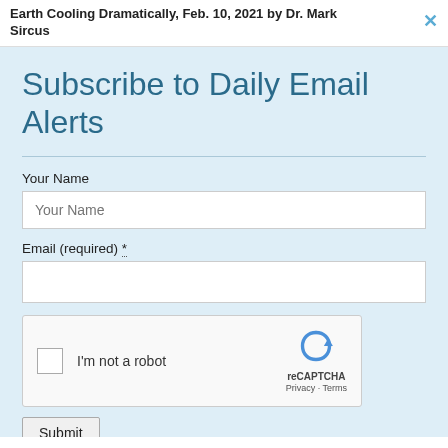Earth Cooling Dramatically, Feb. 10, 2021 by Dr. Mark Sircus
Subscribe to Daily Email Alerts
Your Name
Email (required) *
[Figure (other): reCAPTCHA widget with checkbox labeled I'm not a robot, reCAPTCHA logo, Privacy and Terms links]
Submit
By submitting this form, you are consenting to receive marketing emails from: News With Views, P.O. Box 990, Spring Branch, TX, 78070-9998,